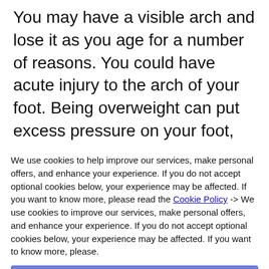You may have a visible arch and lose it as you age for a number of reasons. You could have acute injury to the arch of your foot. Being overweight can put excess pressure on your foot, which may cause flat feet. Simple aging is also an issue as your arches can flatten over
We use cookies to help improve our services, make personal offers, and enhance your experience. If you do not accept optional cookies below, your experience may be affected. If you want to know more, please read the Cookie Policy -> We use cookies to improve our services, make personal offers, and enhance your experience. If you do not accept optional cookies below, your experience may be affected. If you want to know more, please.
ACCEPT COOKIES
CUSTOM SETTINGS